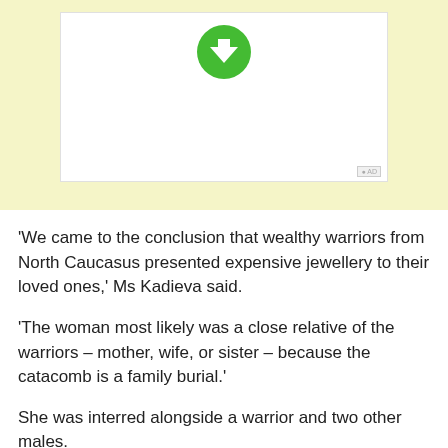[Figure (other): Advertisement banner with yellow background, white inner box, and a green circular download arrow icon at the top center. Small 'AD' label in bottom right corner.]
‘We came to the conclusion that wealthy warriors from North Caucasus presented expensive jewellery to their loved ones,’ Ms Kadieva said.
‘The woman most likely was a close relative of the warriors – mother, wife, or sister – because the catacomb is a family burial.’
She was interred alongside a warrior and two other males.